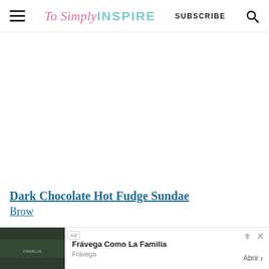To Simply INSPIRE | SUBSCRIBE
[Figure (other): Large white/blank advertisement or content area]
Dark Chocolate Hot Fudge Sundae
Brow...
[Figure (other): Advertisement banner: Frávega Como La Familia - Frávega, Abrir button]